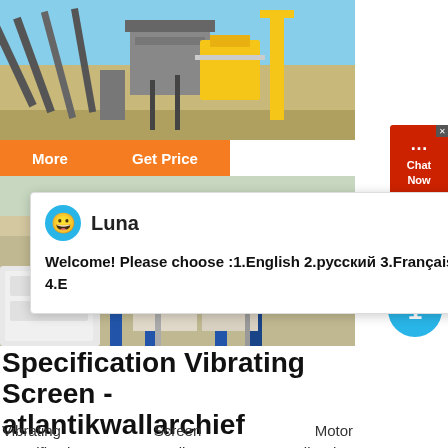[Figure (photo): Industrial mining/crushing plant with conveyor belts and heavy machinery against a blue sky]
More   Get Price
[Figure (photo): Industrial equipment and silos with blue structural supports]
[Figure (screenshot): Chat popup from 'Luna' saying: Welcome! Please choose :1.English 2.русский 3.Français 4.E]
[Figure (other): Red Chat Now button on right side]
Specification Vibrating Screen - atlantikwallarchief
Vibrating      Screen      Motor
Specification.    India     vibrating